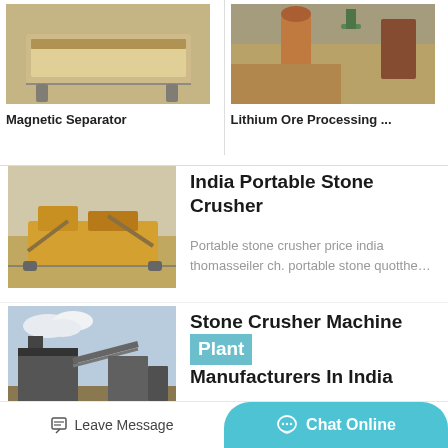[Figure (photo): Magnetic Separator machine photo - yellow/beige industrial machine]
Magnetic Separator
[Figure (photo): Lithium Ore Processing plant photo - industrial plant with machinery and mountains in background]
Lithium Ore Processing ...
[Figure (photo): India Portable Stone Crusher - yellow mobile crushing equipment on dusty field]
India Portable Stone Crusher
Portable stone crusher price india thomasseiler ch. portable stone quotthe...
[Figure (photo): Stone Crusher Machine Plant - large industrial crushing plant against cloudy sky]
Stone Crusher Machine Plant Manufacturers In India
Rocktech engineers is leading in stone
Leave Message
Chat Online